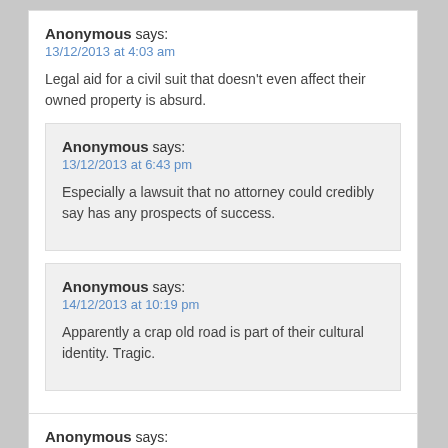Anonymous says:
13/12/2013 at 4:03 am
Legal aid for a civil suit that doesn't even affect their owned property is absurd.
Anonymous says:
13/12/2013 at 6:43 pm
Especially a lawsuit that no attorney could credibly say has any prospects of success.
Anonymous says:
14/12/2013 at 10:19 pm
Apparently a crap old road is part of their cultural identity. Tragic.
Anonymous says: